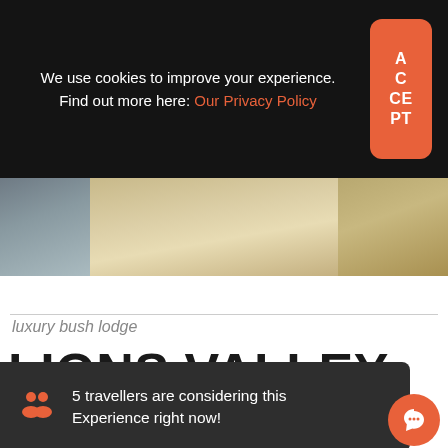We use cookies to improve your experience. Find out more here: Our Privacy Policy
[Figure (photo): Interior photo of a lodge showing furniture and natural light through large windows]
luxury bush lodge
LIONS VALLEY LODGE
5 travellers are considering this Experience right now!
The lodge exudes a warm, welcoming